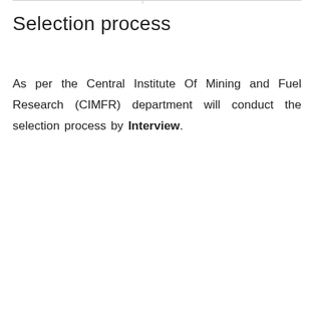Selection process
As per the Central Institute Of Mining and Fuel Research (CIMFR) department will conduct the selection process by Interview.